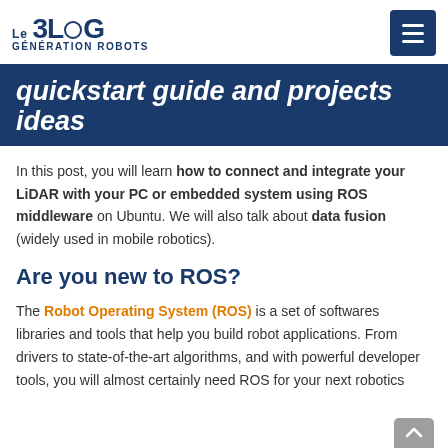LE BLOG Génération ROBOTS
quickstart guide and projects ideas
In this post, you will learn how to connect and integrate your LiDAR with your PC or embedded system using ROS middleware on Ubuntu. We will also talk about data fusion (widely used in mobile robotics).
Are you new to ROS?
The Robot Operating System (ROS) is a set of softwares libraries and tools that help you build robot applications. From drivers to state-of-the-art algorithms, and with powerful developer tools, you will almost certainly need ROS for your next robotics